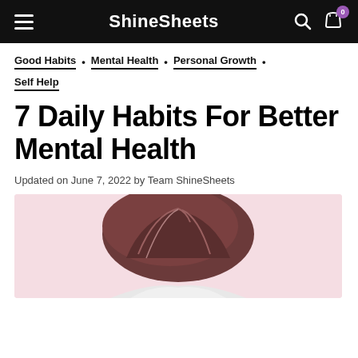ShineSheets
Good Habits • Mental Health • Personal Growth • Self Help
7 Daily Habits For Better Mental Health
Updated on June 7, 2022 by Team ShineSheets
[Figure (photo): Top of a woman's head with brunette hair pulled up, against a soft pink background]